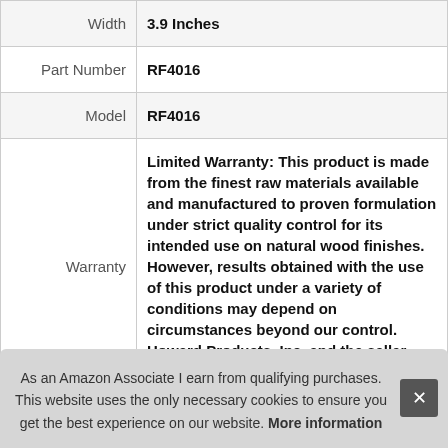| Attribute | Value |
| --- | --- |
| Width | 3.9 Inches |
| Part Number | RF4016 |
| Model | RF4016 |
| Warranty | Limited Warranty: This product is made from the finest raw materials available and manufactured to proven formulation under strict quality control for its intended use on natural wood finishes. However, results obtained with the use of this product under a variety of conditions may depend on circumstances beyond our control. Howard Products, Inc. and the seller therefore |
As an Amazon Associate I earn from qualifying purchases. This website uses the only necessary cookies to ensure you get the best experience on our website. More information